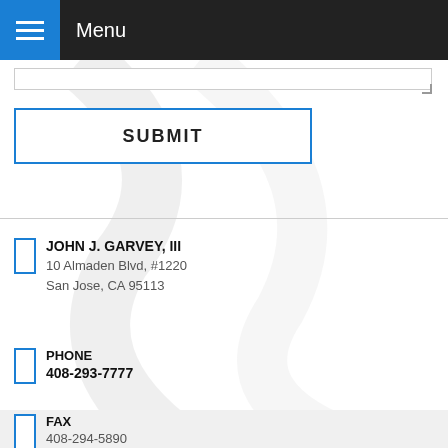Menu
SUBMIT
JOHN J. GARVEY, III
10 Almaden Blvd, #1220
San Jose, CA 95113
PHONE
408-293-7777
FAX
408-294-5890